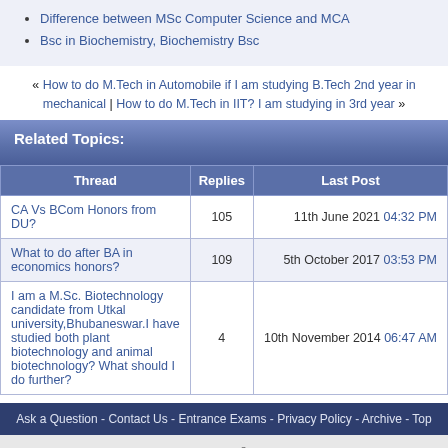Difference between MSc Computer Science and MCA
Bsc in Biochemistry, Biochemistry Bsc
« How to do M.Tech in Automobile if I am studying B.Tech 2nd year in mechanical | How to do M.Tech in IIT? I am studying in 3rd year »
Related Topics:
| Thread | Replies | Last Post |
| --- | --- | --- |
| CA Vs BCom Honors from DU? | 105 | 11th June 2021 04:32 PM |
| What to do after BA in economics honors? | 109 | 5th October 2017 03:53 PM |
| I am a M.Sc. Biotechnology candidate from Utkal university,Bhubaneswar.I have studied both plant biotechnology and animal biotechnology? What should I do further? | 4 | 10th November 2014 06:47 AM |
Ask a Question - Contact Us - Entrance Exams - Privacy Policy - Archive - Top
Powered by vBulletin® Version 3.8.3
Copyright ©2000 - 2022, Jelsoft Enterprises Ltd.
Search Engine Optimisation by vBSEO 3.3.0
vBulletin Optimisation by vB Optimise.